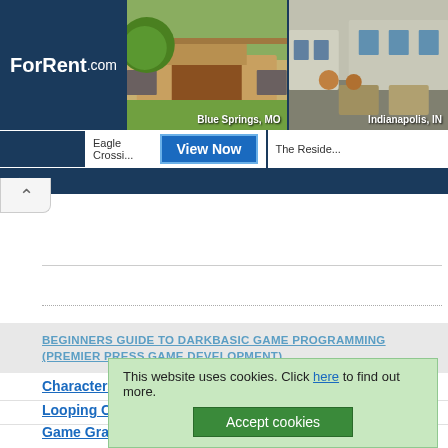[Figure (screenshot): ForRent.com advertisement banner showing two rental properties: Eagle Crossing in Blue Springs, MO and The Residence in Indianapolis, IN, with a blue View Now button]
BEGINNERS GUIDE TO DARKBASIC GAME PROGRAMMING (PREMIER PRESS GAME DEVELOPMENT)
Characters, Strings, and Text Output
Looping Commands
Game Graphics Learning to Use Bitmaps
This website uses cookies. Click here to find out more. Accept cookies